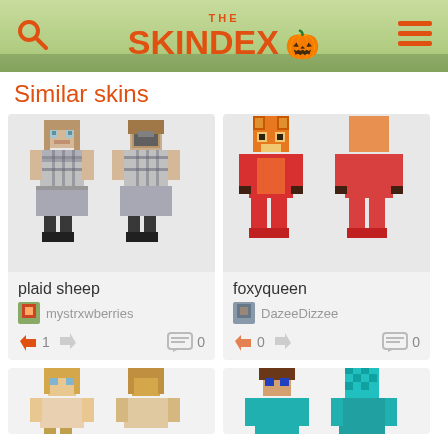THE SKINDEX
Similar skins
[Figure (illustration): Minecraft skin preview for 'plaid sheep' - front and back view of a female character in gray plaid outfit with brown hair]
plaid sheep
mystrxwberries
1
0
[Figure (illustration): Minecraft skin preview for 'foxyqueen' - front and back view of a red/orange fox character]
foxyqueen
DazeeDizzee
0
0
[Figure (illustration): Partial view of a blonde Minecraft skin at bottom left]
[Figure (illustration): Partial view of a teal/cyan Minecraft skin at bottom right]